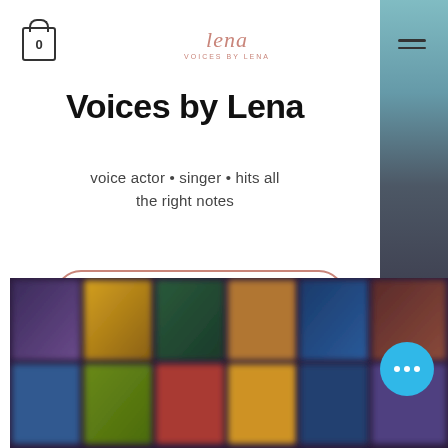Navigation bar with cart icon showing 0, Voices by Lena logo, and hamburger menu
Voices by Lena
voice actor • singer • hits all the right notes
Book Lena for VO
Book Coaching
[Figure (screenshot): Blurred image strip on right side of page]
[Figure (screenshot): Blurred grid of colorful images at bottom of page]
[Figure (other): Cyan/blue chat bubble with three dots in bottom right]